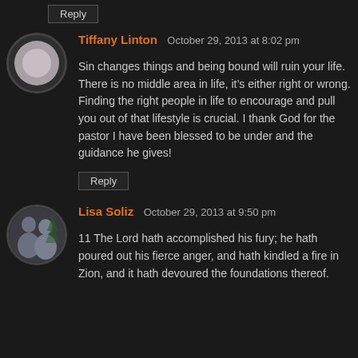Reply
Tiffany Linton   October 29, 2013 at 8:02 pm
Sin changes things and being bound will ruin your life. There is no middle area in life, it’s either right or wrong. Finding the right people in life to encourage and pull you out of that lifestyle is crucial. I thank God for the pastor I have been blessed to be under and the guidance he gives!
Reply
Lisa Soliz   October 29, 2013 at 9:50 pm
11 The Lord hath accomplished his fury; he hath poured out his fierce anger, and hath kindled a fire in Zion, and it hath devoured the foundations thereof.